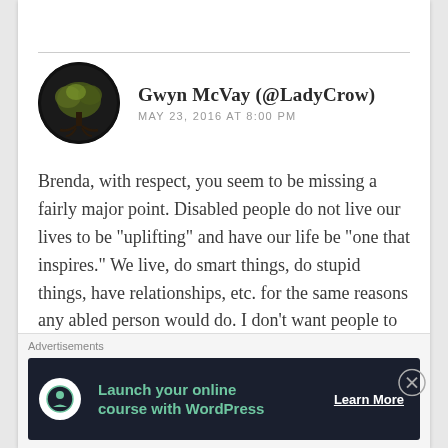Gwyn McVay (@LadyCrow)
MAY 23, 2016 AT 8:00 PM
Brenda, with respect, you seem to be missing a fairly major point. Disabled people do not live our lives to be “uplifting” and have our life be “one that inspires.” We live, do smart things, do stupid things, have relationships, etc. for the same reasons any abled person would do. I don’t want people to be inspired by the plethora of disabilities heaped on me by fate, and how I somehow managed to put my right shoe on my
Advertisements
Launch your online course with WordPress
Learn More